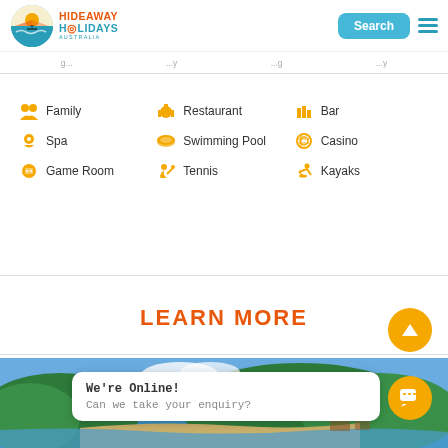Hideaway Holidays — Search — Menu
Navigation strip (partially visible)
Family
Restaurant
Bar
Spa
Swimming Pool
Casino
Game Room
Tennis
Kayaks
LEARN MORE
[Figure (photo): Aerial view of tropical resort with blue water, sandy beach, and lush green trees]
We're Online! Can we take your enquiry?